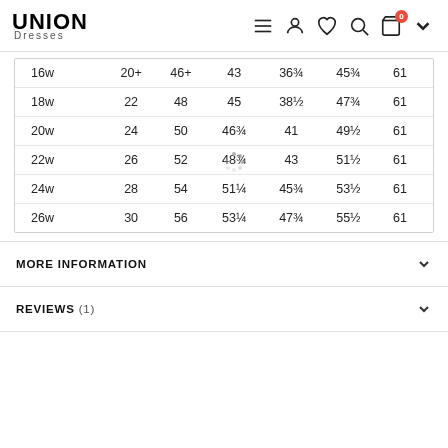UNION Dresses
| 16w | 20+ | 46+ | 43 | 36¾ | 45¾ | 61 |
| 18w | 22 | 48 | 45 | 38½ | 47¾ | 61 |
| 20w | 24 | 50 | 46¾ | 41 | 49½ | 61 |
| 22w | 26 | 52 | 48¾ | 43 | 51½ | 61 |
| 24w | 28 | 54 | 51¼ | 45¾ | 53½ | 61 |
| 26w | 30 | 56 | 53¼ | 47¾ | 55½ | 61 |
MORE INFORMATION
REVIEWS (1)